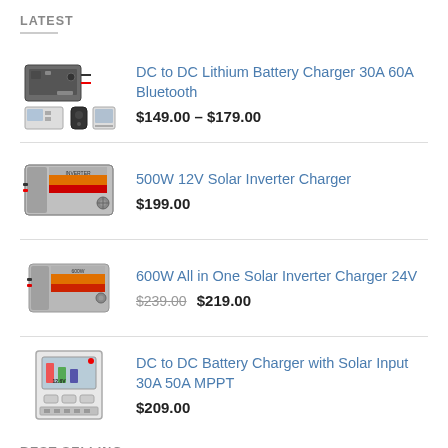LATEST
DC to DC Lithium Battery Charger 30A 60A Bluetooth
500W 12V Solar Inverter Charger
600W All in One Solar Inverter Charger 24V
DC to DC Battery Charger with Solar Input 30A 50A MPPT
BEST SELLING